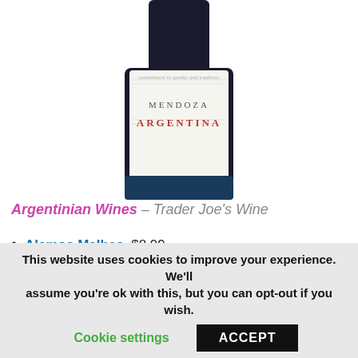[Figure (photo): Wine bottle label showing 'commitment to quality and tradition', MENDOZA, ARGENTINA text on a white label with dark bottle neck visible.]
Argentinian Wines – Trader Joe's Wine
Alamos Malbec, $8.99
Gascon Malbec, $12.99
La Finca Cabernet
La Finca Malbec, $4.49 – Recommended
La Finca Tempranillo, $4.49
Los Vascos Cabernet, $9.49
Norton Malbec, $8.99
This website uses cookies to improve your experience. We'll assume you're ok with this, but you can opt-out if you wish.
Cookie settings | ACCEPT